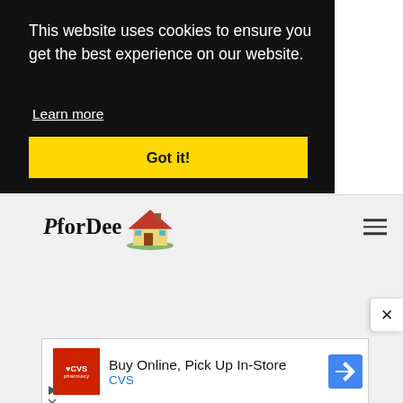This website uses cookies to ensure you get the best experience on our website.
Learn more
Got it!
[Figure (logo): PforDee logo with house illustration and hamburger menu icon]
[Figure (screenshot): CVS Pharmacy advertisement: Buy Online, Pick Up In-Store]